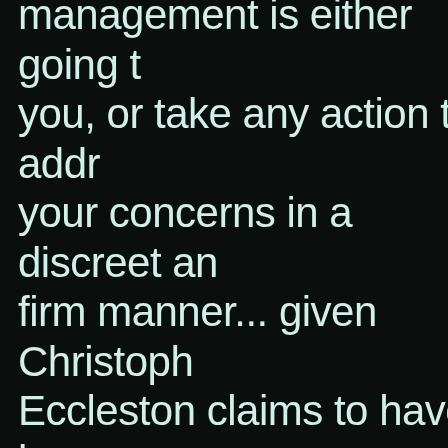management is either going to you, or take any action to address your concerns in a discreet and firm manner... given Christopher Eccleston claims to have been Blacklisted due to his clash with management and the effects of leaving Doctor Who as he did you appreciate that the culture of fear stopped anyone complaining with misplaced thinking. This is how environment on that series of Doctor Who worked, and this is why J